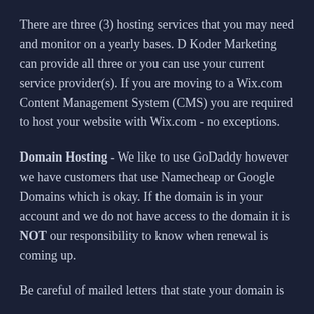There are three (3) hosting services that you may need and monitor on a yearly bases. D Koder Marketing can provide all three or you can use your current service provider(s). If you are moving to a Wix.com Content Management System (CMS) you are required to host your website with Wix.com - no exceptions.
Domain Hosting - We like to use GoDaddy however we have customers that use Namecheap or Google Domains which is okay. If the domain is in your account and we do not have access to the domain it is NOT our responsibility to know when renewal is coming up.
Be careful of mailed letters that state your domain is